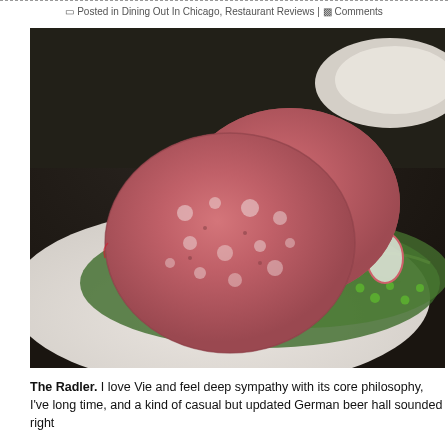Posted in Dining Out In Chicago, Restaurant Reviews | Comments
[Figure (photo): Close-up photo of sliced German bologna/wurst rounds served on a white plate with arugula salad, green peas, and sliced radishes]
The Radler. I love Vie and feel deep sympathy with its core philosophy, I've long time, and a kind of casual but updated German beer hall sounded right